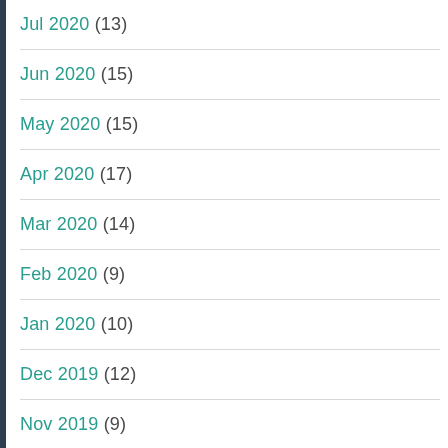Jul 2020 (13)
Jun 2020 (15)
May 2020 (15)
Apr 2020 (17)
Mar 2020 (14)
Feb 2020 (9)
Jan 2020 (10)
Dec 2019 (12)
Nov 2019 (9)